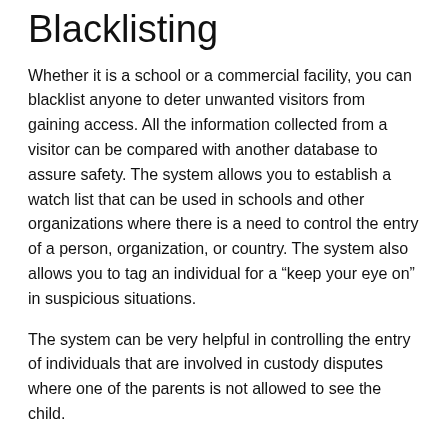Blacklisting
Whether it is a school or a commercial facility, you can blacklist anyone to deter unwanted visitors from gaining access. All the information collected from a visitor can be compared with another database to assure safety. The system allows you to establish a watch list that can be used in schools and other organizations where there is a need to control the entry of a person, organization, or country.  The system also allows you to tag an individual for a “keep your eye on” in suspicious situations.
The system can be very helpful in controlling the entry of individuals that are involved in custody disputes where one of the parents is not allowed to see the child.
Emergency Notifications